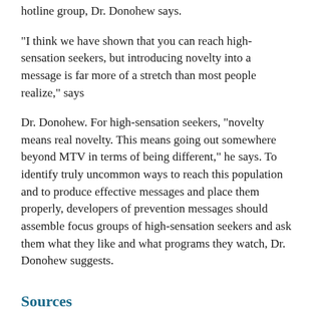hotline group, Dr. Donohew says.
"I think we have shown that you can reach high-sensation seekers, but introducing novelty into a message is far more of a stretch than most people realize," says
Dr. Donohew. For high-sensation seekers, "novelty means real novelty. This means going out somewhere beyond MTV in terms of being different," he says. To identify truly uncommon ways to reach this population and to produce effective messages and place them properly, developers of prevention messages should assemble focus groups of high-sensation seekers and ask them what they like and what programs they watch, Dr. Donohew suggests.
Sources
Donohew...